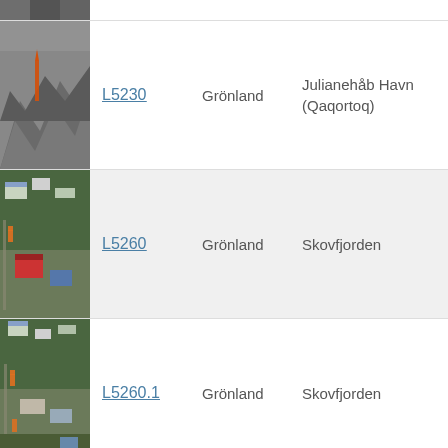[Figure (photo): Partial top of photo showing rocky terrain, cut off at top of page]
| Photo | Code | Country | Location |
| --- | --- | --- | --- |
| [rocky terrain photo] | L5230 | Grönland | Julianehåb Havn (Qaqortoq) |
| [village aerial photo] | L5260 | Grönland | Skovfjorden |
| [village aerial photo 2] | L5260.1 | Grönland | Skovfjorden |
[Figure (photo): Partial bottom of last row photo, cut off at bottom of page]